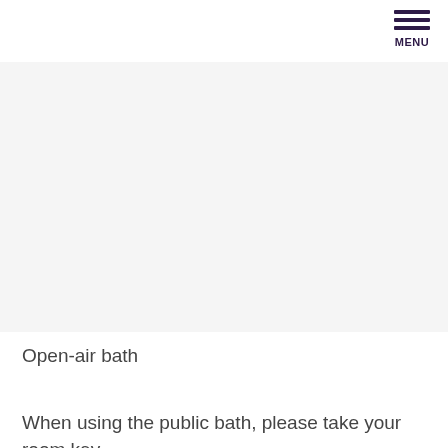MENU
[Figure (photo): Open-air bath photo area (white/light gray placeholder)]
Open-air bath
When using the public bath, please take your room key